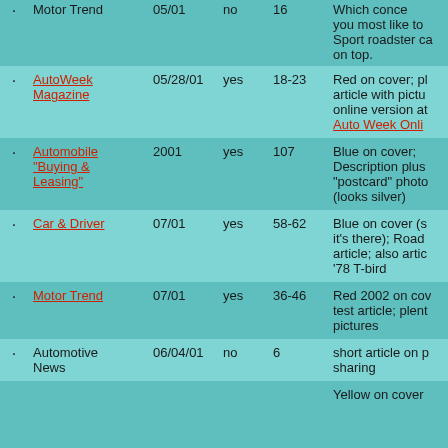|  | Publication | Date | Cover? | Pages | Notes |
| --- | --- | --- | --- | --- | --- |
| · | Motor Trend | 05/01 | no | 16 | Which concept car would you most like to... Sport roadster ca... on top. |
| · | AutoWeek Magazine | 05/28/01 | yes | 18-23 | Red on cover; pl... article with pict... online version at Auto Week Onli... |
| · | Automobile "Buying & Leasing" | 2001 | yes | 107 | Blue on cover; Description plus "postcard" photo (looks silver) |
| · | Car & Driver | 07/01 | yes | 58-62 | Blue on cover (s... it's there); Road article; also arti... '78 T-bird |
| · | Motor Trend | 07/01 | yes | 36-46 | Red 2002 on co... test article; plen... pictures |
| · | Automotive News | 06/04/01 | no | 6 | short article on p... sharing |
| · |  |  |  |  | Yellow on cover... |